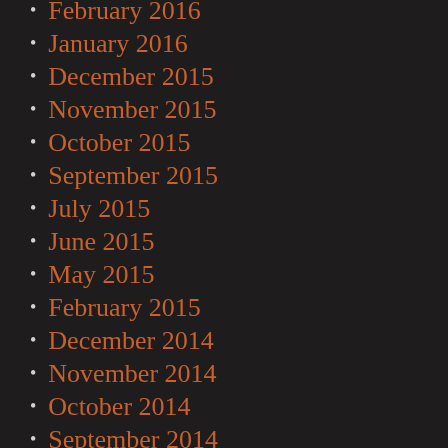February 2016
January 2016
December 2015
November 2015
October 2015
September 2015
July 2015
June 2015
May 2015
February 2015
December 2014
November 2014
October 2014
September 2014
August 2014
July 2014